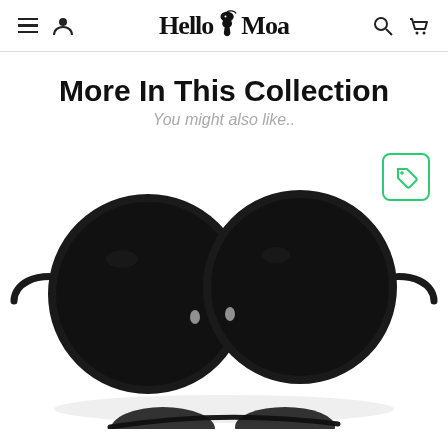HelloMoa — navigation header with menu, user, search and cart icons
More In This Collection
You might also like..
[Figure (photo): Black round steampunk sunglasses with dark lenses and metal frame on white background, with a green price-tag badge icon in the top-right corner. A second partial pair of sunglasses is visible at the bottom of the image.]